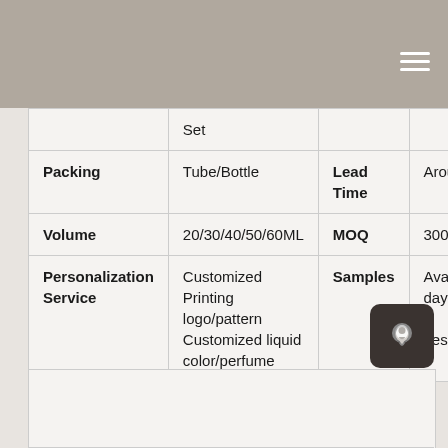|  | Set |  |  |
| --- | --- | --- | --- |
| Packing | Tube/Bottle | Lead Time | Aroun |
| Volume | 20/30/40/50/60ML | MOQ | 3000 |
| Personalization Service | Customized Printing logo/pattern Customized liquid color/perfume | Samples | Availa days a desig |